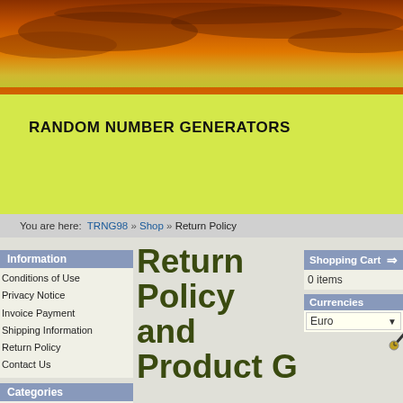[Figure (photo): Orange/amber sunset sky banner image at top of webpage]
RANDOM NUMBER GENERATORS
You are here: TRNG98 » Shop » Return Policy
Information
Conditions of Use
Privacy Notice
Invoice Payment
Shipping Information
Return Policy
Contact Us
Categories
PC units (2)
Support Products (3)
Return Policy and Product Guarantee
[Figure (illustration): Cartoon businessman running with a clock and briefcase]
Shopping Cart
0 items
Currencies
Euro